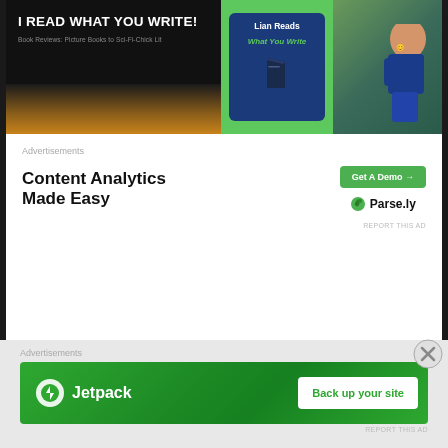[Figure (screenshot): Blog banner images: left shows black background with text 'I READ WHAT YOU WRITE! Book Reviews: Picture Books to Sci-Fi-Chick Lit', right shows green background with 'Lian Reads What You Write' blue card and a photo of a child in a library]
Advertisements
[Figure (infographic): Content Analytics Made Easy advertisement with Get A Demo button and Parse.ly logo]
REPORT THIS AD
Advertisements
[Figure (infographic): Jetpack advertisement: Back up your site, with green gradient background]
REPORT THIS AD